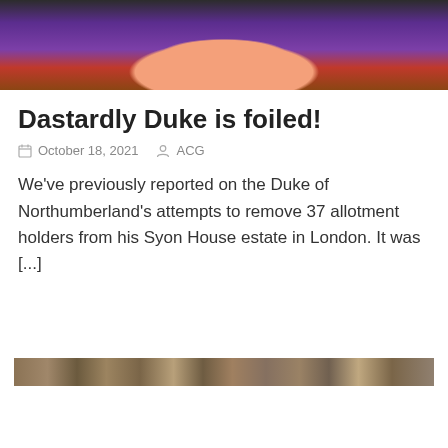[Figure (illustration): Cartoon illustration showing a character in a purple shirt with red accents, likely an animation still]
Dastardly Duke is foiled!
October 18, 2021   ACG
We’ve previously reported on the Duke of Northumberland’s attempts to remove 37 allotment holders from his Syon House estate in London. It was […]
[Figure (photo): Partial photo at the bottom of the page, appearing to show a outdoor or nature scene]